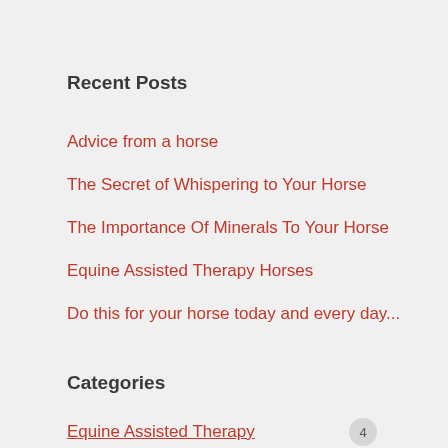Recent Posts
Advice from a horse
The Secret of Whispering to Your Horse
The Importance Of Minerals To Your Horse
Equine Assisted Therapy Horses
Do this for your horse today and every day...
Categories
Equine Assisted Therapy  4
horse training  33
horse-human bond  29